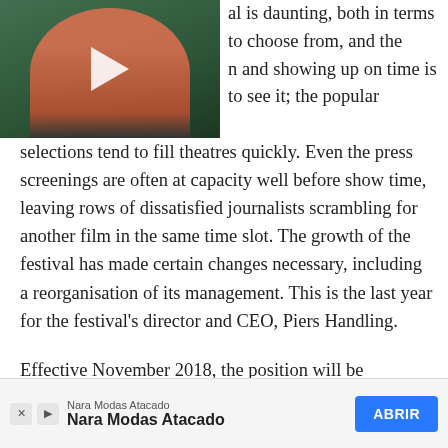[Figure (screenshot): Video thumbnail showing a person in a pink top against a green background with a white play button triangle]
al is daunting, both in terms to choose from, and the n and showing up on time is to see it; the popular selections tend to fill theatres quickly. Even the press screenings are often at capacity well before show time, leaving rows of dissatisfied journalists scrambling for another film in the same time slot. The growth of the festival has made certain changes necessary, including a reorganisation of its management. This is the last year for the festival’s director and CEO, Piers Handling.
Effective November 2018, the position will be
[Figure (screenshot): Advertisement banner for Nara Modas Atacado with ABRIR button]